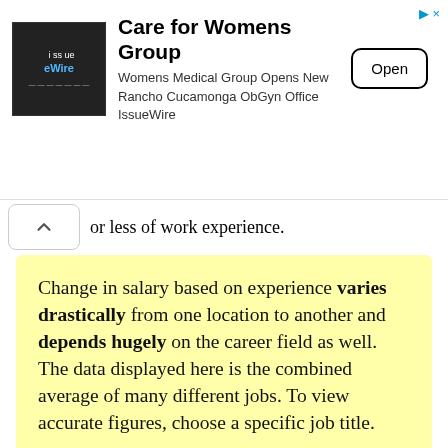[Figure (other): Advertisement banner for 'Care for Womens Group' by IssueWire with an Open button]
or less of work experience.
Change in salary based on experience varies drastically from one location to another and depends hugely on the career field as well. The data displayed here is the combined average of many different jobs. To view accurate figures, choose a specific job title.
As you hit the ten years mark, the salary increases by 21% and an additional 14% for those who have crossed the 15 years mark.